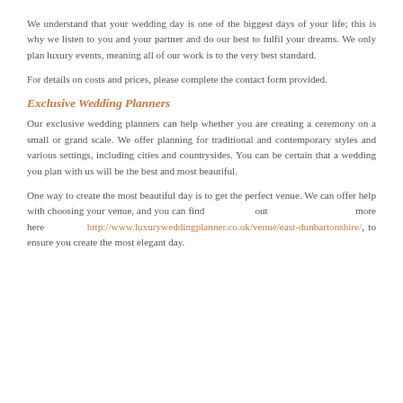We understand that your wedding day is one of the biggest days of your life; this is why we listen to you and your partner and do our best to fulfil your dreams. We only plan luxury events, meaning all of our work is to the very best standard.
For details on costs and prices, please complete the contact form provided.
Exclusive Wedding Planners
Our exclusive wedding planners can help whether you are creating a ceremony on a small or grand scale. We offer planning for traditional and contemporary styles and various settings, including cities and countrysides. You can be certain that a wedding you plan with us will be the best and most beautiful.
One way to create the most beautiful day is to get the perfect venue. We can offer help with choosing your venue, and you can find out more here http://www.luxuryweddingplanner.co.uk/venue/east-dunbartonshire/, to ensure you create the most elegant day.